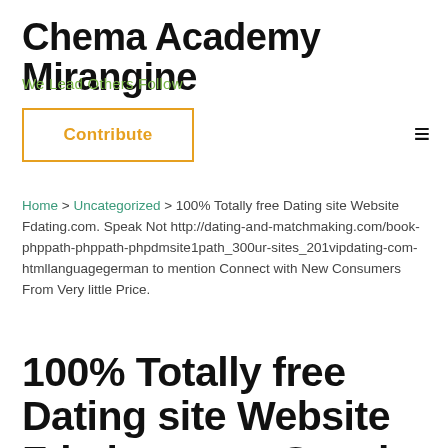Chema Academy Mirangine
We Lead Others Follow
Contribute
Home > Uncategorized > 100% Totally free Dating site Website Fdating.com. Speak Not http://dating-and-matchmaking.com/book-phppath-phppath-phpdmsite1path_300ur-sites_201vipdating-com-htmllanguagegerman to mention Connect with New Consumers From Very little Price.
100% Totally free Dating site Website Fdating.com. Speak Not http://dating-and-